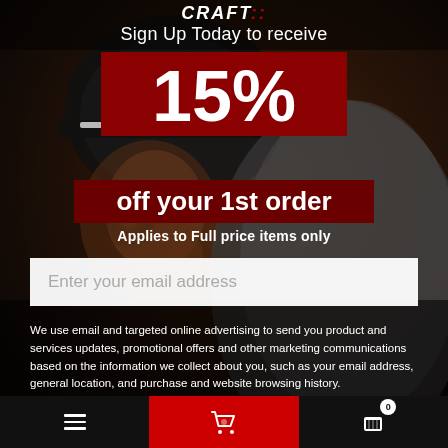[Figure (photo): Background photo of a cyclist wearing a helmet and dark sportswear, shot from the side in a dark, blurred outdoor setting]
CRAFT
Sign Up Today to receive
15%
off your 1st order
Applies to Full price items only
Enter your email address
We use email and targeted online advertising to send you product and services updates, promotional offers and other marketing communications based on the information we collect about you, such as your email address, general location, and purchase and website browsing history.
We process your personal data as stated in our Privacy Policy {insert privacy policy link}. You may withdraw your consent or manage your
≡   🛒 0   🛒